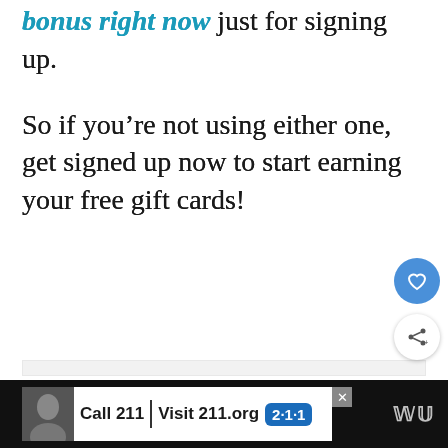bonus right now just for signing up.
So if you’re not using either one, get signed up now to start earning your free gift cards!
[Figure (other): Light grey content placeholder box]
[Figure (other): Advertisement banner at bottom: Call 211 | Visit 211.org with 2-1-1 badge logo, person photo, and close button. Adjacent logo letters W on right side.]